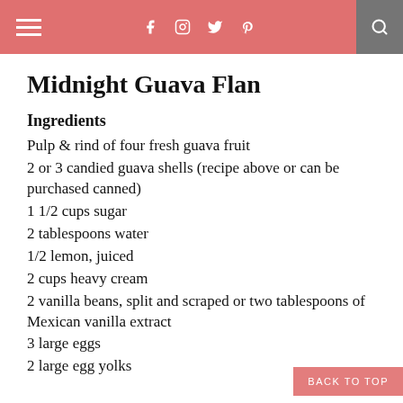Midnight Guava Flan — navigation header with social icons
Midnight Guava Flan
Ingredients
Pulp & rind of four fresh guava fruit
2 or 3 candied guava shells (recipe above or can be purchased canned)
1 1/2 cups sugar
2 tablespoons water
1/2 lemon, juiced
2 cups heavy cream
2 vanilla beans, split and scraped or two tablespoons of Mexican vanilla extract
3 large eggs
2 large egg yolks